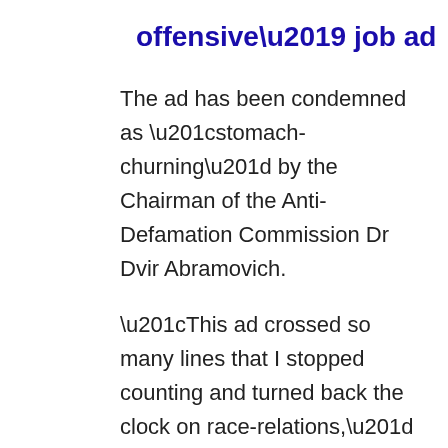offensive’ job ad
The ad has been condemned as “stomach-churning” by the Chairman of the Anti-Defamation Commission Dr Dvir Abramovich.
“This ad crossed so many lines that I stopped counting and turned back the clock on race-relations,” he told 7NEWS.com.au.
“And while I am glad that someone at the company woke